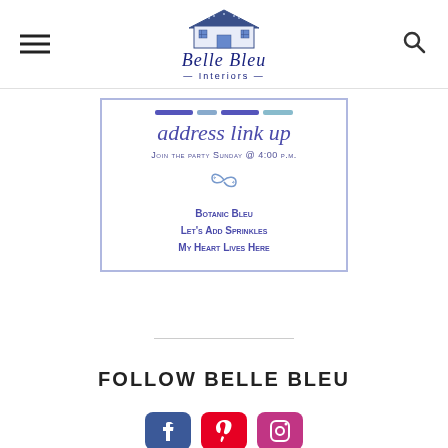[Figure (logo): Belle Bleu Interiors logo with house illustration and stylized script text]
[Figure (infographic): Address link up party invitation flyer with blue border. Text: address link up, Join the party Sunday @ 4:00 p.m., Botanic Bleu, Let's Add Sprinkles, My Heart Lives Here]
FOLLOW BELLE BLEU
[Figure (infographic): Social media icons for Facebook, Pinterest, and Instagram]